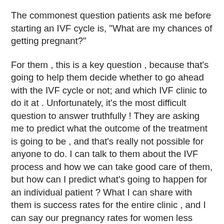The commonest question patients ask me before starting an IVF cycle is, "What are my chances of getting pregnant?"
For them , this is a key question , because that's going to help them decide whether to go ahead with the IVF cycle or not; and which IVF clinic to do it at . Unfortunately, it's the most difficult question to answer truthfully ! They are asking me to predict what the outcome of the treatment is going to be , and that's really not possible for anyone to do. I can talk to them about the IVF process and how we can take good care of them, but how can I predict what's going to happen for an individual patient ? What I can share with them is success rates for the entire clinic , and I can say our pregnancy rates for women less than 35 for whom we transfer two top quality blastocysts is 46%.
However, what does that mean for them as an individual? Very little, because we don't know how many blastocysts we will create for them, or what their quality will be, before starting the IVF cycle. This is not something I can predict accurately , because I don't know how many eggs they will grow; how many embryos they will form ; or what the quality